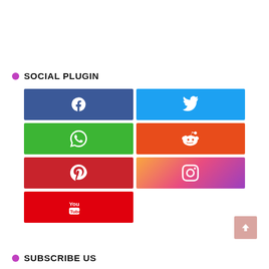SOCIAL PLUGIN
[Figure (infographic): Social media plugin buttons grid: Facebook (blue), Twitter (cyan), WhatsApp (green), Reddit (orange-red), Pinterest (red), Instagram (gradient), YouTube (red)]
[Figure (other): Back to top button - pink/salmon colored square with upward chevron arrow]
SUBSCRIBE US